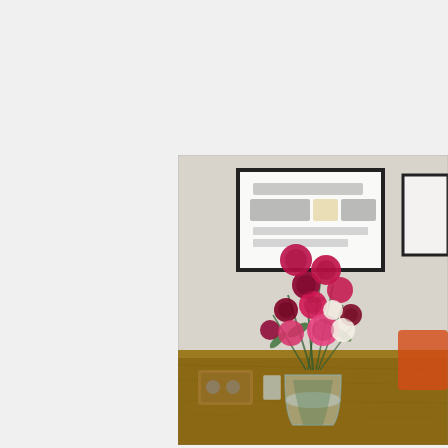[Figure (photo): A bouquet of colorful sweet william flowers (Dianthus barbatus) in pink, magenta, deep red, and white, arranged in a clear glass vase on a rustic wooden table. In the blurred background is a framed typographic poster on a white wall and an orange chair. Other items on the table include a small wooden tray and glassware.]